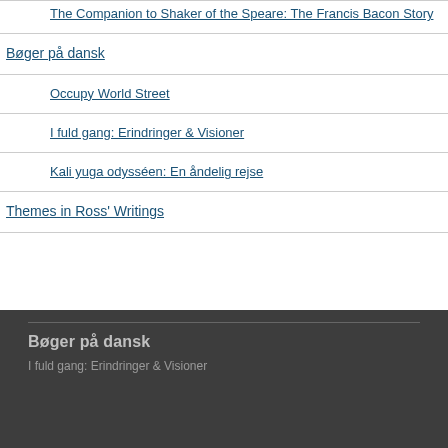The Companion to Shaker of the Speare: The Francis Bacon Story
Bøger på dansk
Occupy World Street
I fuld gang: Erindringer & Visioner
Kali yuga odysséen: En åndelig rejse
Themes in Ross' Writings
Bøger på dansk
I fuld gang: Erindringer & Visioner